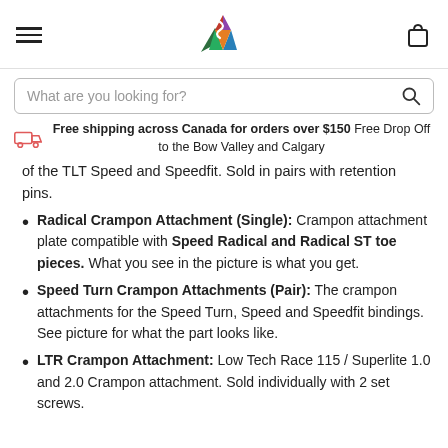[Hamburger menu] [Mountain logo] [Cart icon]
What are you looking for?
Free shipping across Canada for orders over $150 Free Drop Off to the Bow Valley and Calgary
of the TLT Speed and Speedfit. Sold in pairs with retention pins.
Radical Crampon Attachment (Single): Crampon attachment plate compatible with Speed Radical and Radical ST toe pieces. What you see in the picture is what you get.
Speed Turn Crampon Attachments (Pair): The crampon attachments for the Speed Turn, Speed and Speedfit bindings. See picture for what the part looks like.
LTR Crampon Attachment: Low Tech Race 115 / Superlite 1.0 and 2.0 Crampon attachment. Sold individually with 2 set screws.